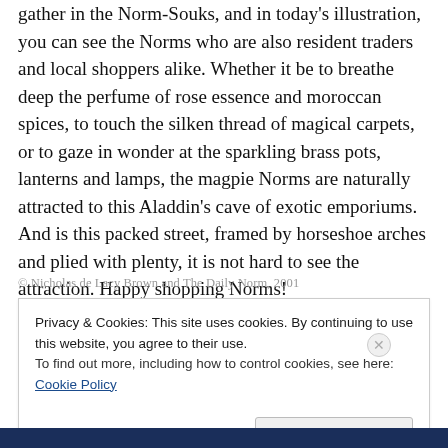gather in the Norm-Souks, and in today's illustration, you can see the Norms who are also resident traders and local shoppers alike. Whether it be to breathe deep the perfume of rose essence and moroccan spices, to touch the silken thread of magical carpets, or to gaze in wonder at the sparkling brass pots, lanterns and lamps, the magpie Norms are naturally attracted to this Aladdin's cave of exotic emporiums. And is this packed street, framed by horseshoe arches and plied with plenty, it is not hard to see the attraction. Happy shopping Norms!
© Nicholas de Lacy Brown and The Daily Norm, 2001
Privacy & Cookies: This site uses cookies. By continuing to use this website, you agree to their use.
To find out more, including how to control cookies, see here: Cookie Policy
Close and accept